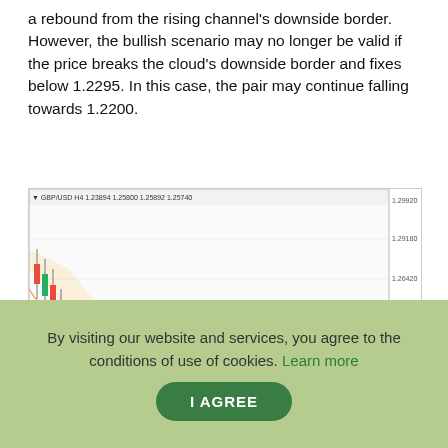a rebound from the rising channel's downside border. However, the bullish scenario may no longer be valid if the price breaks the cloud's downside border and fixes below 1.2295. In this case, the pair may continue falling towards 1.2200.
[Figure (continuous-plot): GBP/USD H4 candlestick chart with Ichimoku cloud overlay, moving averages, rising channel lines, and an annotation arrow indicating a projected upward move. X-axis shows dates from 22 Apr 2022 to 26 May. Y-axis shows price levels from approximately 1.20190 to 1.29920. A large black arrow points upward from around 1.2540 area, and a second arrow points down to the rising channel's downside border.]
Risk Warning: the result of previous trading operations do not guarantee the same results in the future.
By visiting our website and services, you agree to the conditions of use of cookies. Learn more